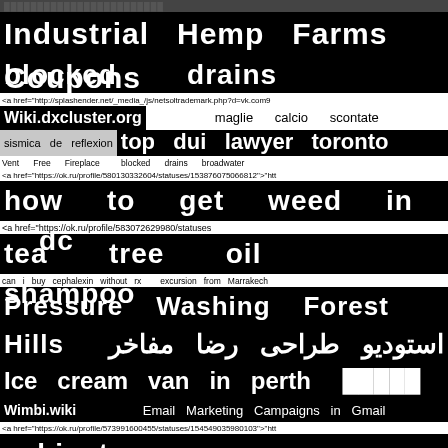██████████████████████
Industrial Hemp Farms Coupons
blocked drains worthing
<a href="http://splashender.net/_media_/js/netsoltrademark.php?d=vk.com9
Wiki.dxcluster.org    maglie calcio scontate
sismica de reflexion    top dui lawyer toronto
Vent Free Fireplace    blocked drains broadwater
<a href="https://ok.ru/profile/580130332604/statuses/153876075066812">"htt
how to get weed in dc
<a href="https://ok.ru/profile/583072629980/statuses
tea tree oil shampoo
can i buy cephalexin without rx    excursion from Marrakech
Pressure Washing Forest Hills
استودیو طراحی رضا مفاخر
Ice cream van in perth    ██████ █████
Wimbi.wiki    Email Marketing Campaigns in Gmail
<a href="https://ok.ru/profile/573991600455/statuses/154549035980103">"htt
cabinets near me
pharmaceutical wholesalers uk list
<a href="https://toolbarqueries.google.by/url?q=http%3A%2F%2F%twitter.com%